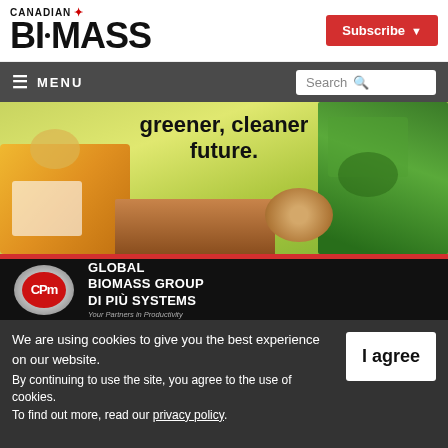CANADIAN BIOMASS — Subscribe
≡ MENU   Search
[Figure (photo): Advertisement banner for CPM Global Biomass Group Di Più Systems showing industrial biomass machinery, wood logs, pellets, with headline 'greener, cleaner future.']
We are using cookies to give you the best experience on our website. By continuing to use the site, you agree to the use of cookies. To find out more, read our privacy policy.
I agree